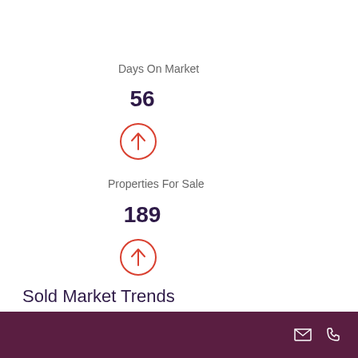Days On Market
56
[Figure (infographic): Red circle with upward arrow icon indicating increase]
Properties For Sale
189
[Figure (infographic): Red circle with upward arrow icon indicating increase]
Sold Market Trends
Median sold price